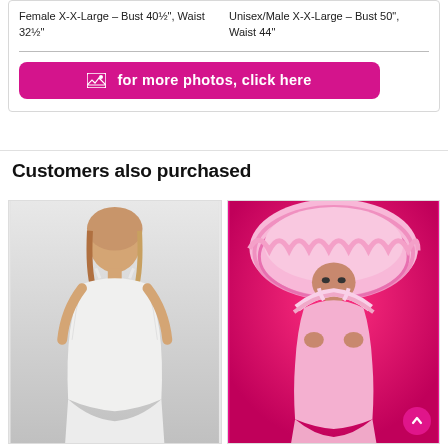Female X-X-Large - Bust 40½", Waist 32½"
Unisex/Male X-X-Large - Bust 50", Waist 44"
🖼 for more photos, click here
Customers also purchased
[Figure (photo): Model in white lace/satin dress, off-shoulder style]
[Figure (photo): Model in pink satin ruffle costume with large ruffle hat, red background]